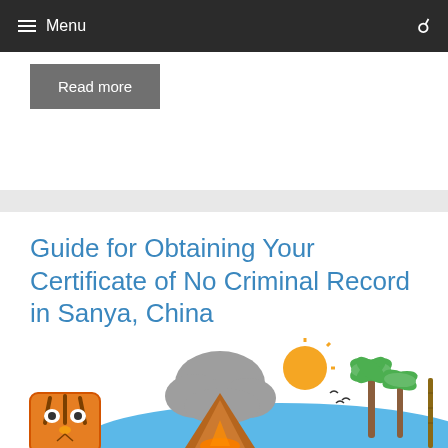Menu
Read more
Guide for Obtaining Your Certificate of No Criminal Record in Sanya, China
January 27, 2021 by Pete Zhang
[Figure (illustration): Colorful cartoon illustration showing a tiger mask, volcanic eruption with gray cloud, sun, birds, blue water, green palm trees, and bamboo — tropical/adventure themed scene.]